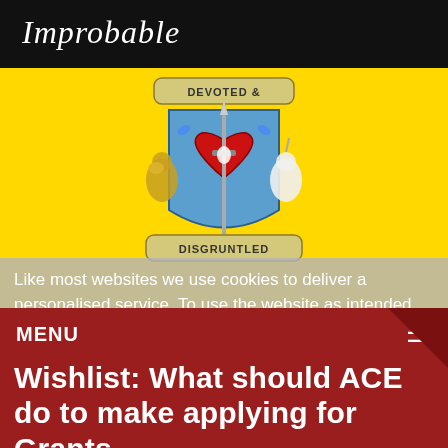Improbable
[Figure (logo): Devoted & Disgruntled emblem: a heraldic shield with a red heart pierced by a sword, flanked by a lion and unicorn, with banners reading 'DEVOTED &' at top and 'DISGRUNTLED' at bottom, on a yellow background]
Like most websites we use cookies to deliver a personalised service. To use the website as intended please accept cookies. By using this website, you are accepting the terms of our Privacy Policy and Data Promise, which you can find here.
MENU
Wishlist: What should ACE do to make applying for Grants